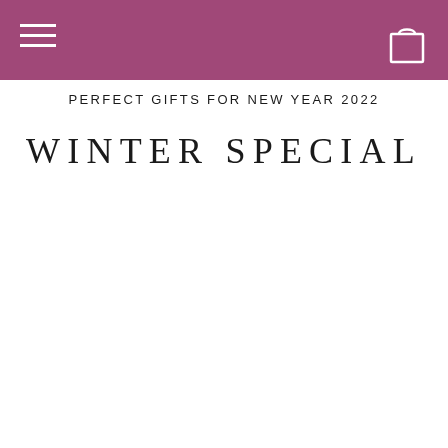navigation bar with hamburger menu and cart icon
PERFECT GIFTS FOR NEW YEAR 2022
WINTER SPECIAL